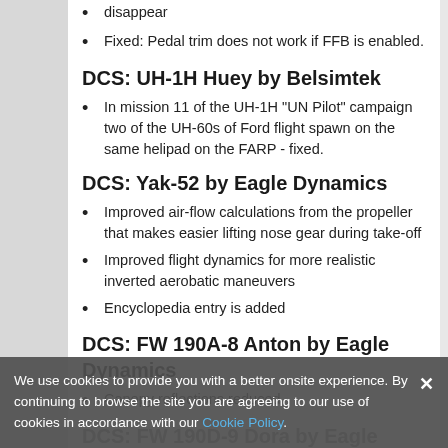disappear
Fixed: Pedal trim does not work if FFB is enabled.
DCS: UH-1H Huey by Belsimtek
In mission 11 of the UH-1H "UN Pilot" campaign two of the UH-60s of Ford flight spawn on the same helipad on the FARP - fixed.
DCS: Yak-52 by Eagle Dynamics
Improved air-flow calculations from the propeller that makes easier lifting nose gear during take-off
Improved flight dynamics for more realistic inverted aerobatic maneuvers
Encyclopedia entry is added
DCS: FW 190A-8 Anton by Eagle Dynamics
Canopy reflections reduced
DCS: FW 190D-9 Dora by Eagle Dynamics
We use cookies to provide you with a better onsite experience. By continuing to browse the site you are agreeing to our use of cookies in accordance with our Cookie Policy.